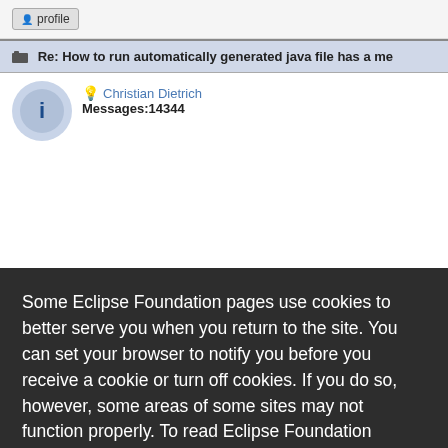[Figure (screenshot): Eclipse forum page with a post header 'Re: How to run automatically generated java file has a me...' and user avatar for Christian Dietrich with Messages:14344]
Some Eclipse Foundation pages use cookies to better serve you when you return to the site. You can set your browser to notify you before you receive a cookie or turn off cookies. If you do so, however, some areas of some sites may not function properly. To read Eclipse Foundation Privacy Policy click here.
Decline
Allow cookies